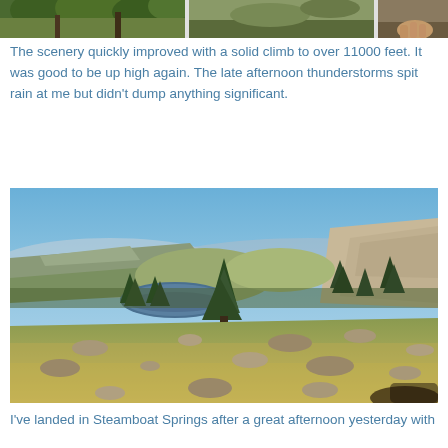[Figure (photo): Strip of partial photos at top of page showing outdoor/forest scenes]
The scenery quickly improved with a solid climb to over 11000 feet. It was good to be up high again. The late afternoon thunderstorms spit rain at me but didn't dump anything significant.
[Figure (photo): Wide mountain landscape photo showing alpine meadow with scattered rocks in foreground, evergreen trees in middle ground, a small mountain lake, rocky peaks and ridgelines in background under clear blue sky]
I've landed in Steamboat Springs after a great afternoon yesterday with